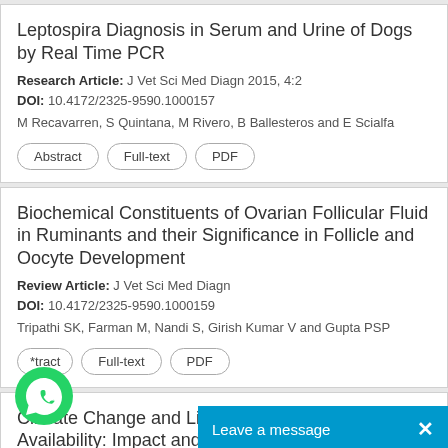Leptospira Diagnosis in Serum and Urine of Dogs by Real Time PCR
Research Article: J Vet Sci Med Diagn 2015, 4:2
DOI: 10.4172/2325-9590.1000157
M Recavarren, S Quintana, M Rivero, B Ballesteros and E Scialfa
Abstract | Full-text | PDF
Biochemical Constituents of Ovarian Follicular Fluid in Ruminants and their Significance in Follicle and Oocyte Development
Review Article: J Vet Sci Med Diagn
DOI: 10.4172/2325-9590.1000159
Tripathi SK, Farman M, Nandi S, Girish Kumar V and Gupta PSP
*tract | Full-text | PDF
Climate Change and Livestock Availability: Impact and Mi…